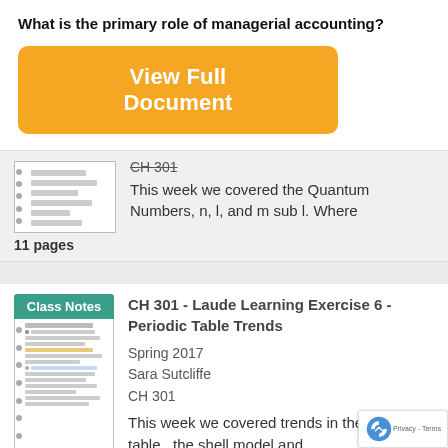What is the primary role of managerial accounting?
[Figure (screenshot): Orange 'View Full Document' button]
CH 301
This week we covered the Quantum Numbers, n, l, and m sub l. Where
11 pages
Class Notes
CH 301 - Laude Learning Exercise 6 - Periodic Table Trends
Spring 2017
Sara Sutcliffe
CH 301
This week we covered trends in the periodic table , the shell model and
6 pages